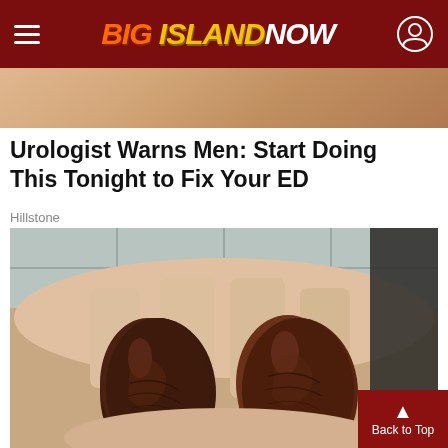BIG ISLAND NOW
[Figure (photo): Partial photo strip at top of page showing skin tones]
Urologist Warns Men: Start Doing This Tonight to Fix Your ED
Hillstone
[Figure (photo): A hand holding two large dark brown dried dates/fruits against a tiled background]